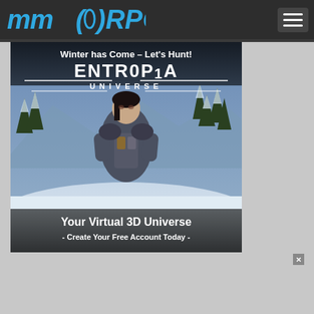MMORPG
[Figure (illustration): Entropia Universe advertisement banner. Text reads: 'Winter has Come - Let's Hunt!' at top, large stylized 'ENTROPIA UNIVERSE' logo in center, female character in futuristic armor in front of snowy landscape with pine trees, text at bottom: 'Your Virtual 3D Universe - Create Your Free Account Today -']